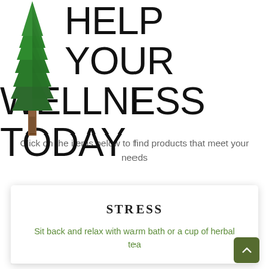[Figure (illustration): A tall green evergreen tree (conifer/spruce) illustration in the top-left corner of the page]
HELP YOUR WELLNESS TODAY
Click on the items below to find products that meet your needs
STRESS
Sit back and relax with warm bath or a cup of herbal tea